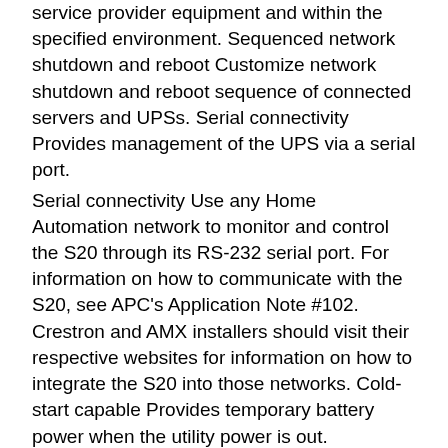service provider equipment and within the specified environment. Sequenced network shutdown and reboot Customize network shutdown and reboot sequence of connected servers and UPSs. Serial connectivity Provides management of the UPS via a serial port.
Serial connectivity Use any Home Automation network to monitor and control the S20 through its RS-232 serial port. For information on how to communicate with the S20, see APC's Application Note #102. Crestron and AMX installers should visit their respective websites for information on how to integrate the S20 into those networks. Cold-start capable Provides temporary battery power when the utility power is out.
Intelligent battery management Maximizes battery performance, life, and reliability through intelligent, precision charging. Intuitive LCD interface Provides clear and accurate information in multiple languages with the ability to configure the UPS locally with easy to use